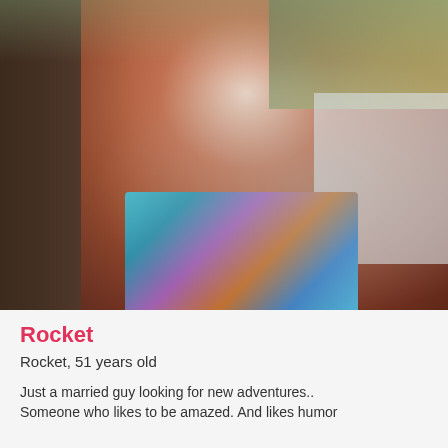[Figure (photo): Shirtless older man in colorful swim shorts standing outdoors near a pool, showing a sunburned torso, with greenery visible in background]
Rocket
Rocket, 51 years old
Just a married guy looking for new adventures.. Someone who likes to be amazed. And likes humor